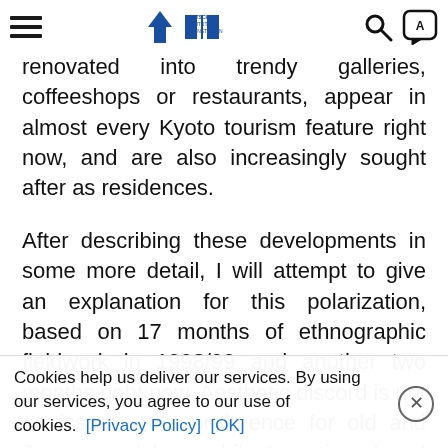Deutsches Institut für Japanstudien
renovated into trendy galleries, coffeeshops or restaurants, appear in almost every Kyoto tourism feature right now, and are also increasingly sought after as residences.
After describing these developments in some more detail, I will attempt to give an explanation for this polarization, based on 17 months of ethnographic fieldwork in 1998/99 and another two months right now. Aesthetic discord is not an issue – the preference for old and Japanese-style architecture is almost universal. More momentous is the power of the big players in Japan's construction business. These huge corporations have little reason to change their uniform nation-wide strategies
Cookies help us deliver our services. By using our services, you agree to our use of cookies. [Privacy Policy]  [OK]